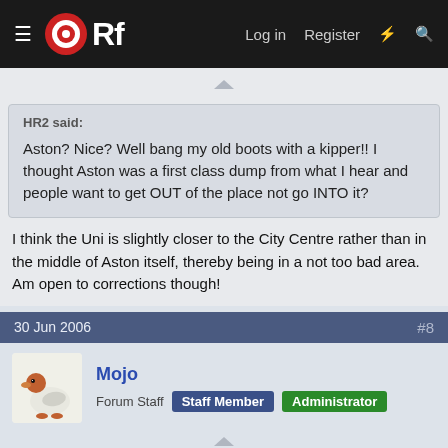ORf  Log in  Register
HR2 said:
Aston? Nice? Well bang my old boots with a kipper!! I thought Aston was a first class dump from what I hear and people want to get OUT of the place not go INTO it?
I think the Uni is slightly closer to the City Centre rather than in the middle of Aston itself, thereby being in a not too bad area. Am open to corrections though!
30 Jun 2006  #8
Mojo
Forum Staff  Staff Member  Administrator
Yeah, it took us 5 mins to walk from Moor Street station.
They seem to like to make a point of the fact they're not in Aston, by saying on their "how to get here" thing I got